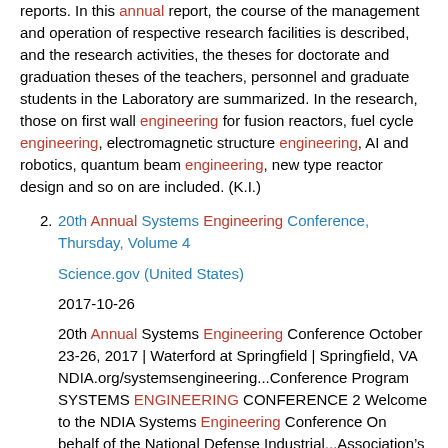reports. In this annual report, the course of the management and operation of respective research facilities is described, and the research activities, the theses for doctorate and graduation theses of the teachers, personnel and graduate students in the Laboratory are summarized. In the research, those on first wall engineering for fusion reactors, fuel cycle engineering, electromagnetic structure engineering, AI and robotics, quantum beam engineering, new type reactor design and so on are included. (K.I.)
2. 20th Annual Systems Engineering Conference, Thursday, Volume 4
Science.gov (United States)
2017-10-26
20th Annual Systems Engineering Conference October 23-26, 2017 | Waterford at Springfield | Springfield, VA NDIA.org/systemsengineering...Conference Program SYSTEMS ENGINEERING CONFERENCE 2 Welcome to the NDIA Systems Engineering Conference On behalf of the National Defense Industrial...Association’s Systems